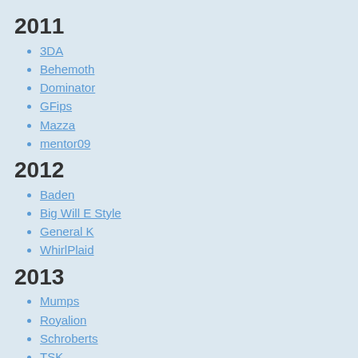2011
3DA
Behemoth
Dominator
GFips
Mazza
mentor09
2012
Baden
Big Will E Style
General K
WhirlPlaid
2013
Mumps
Royalion
Schroberts
TSK
2015
cheech99